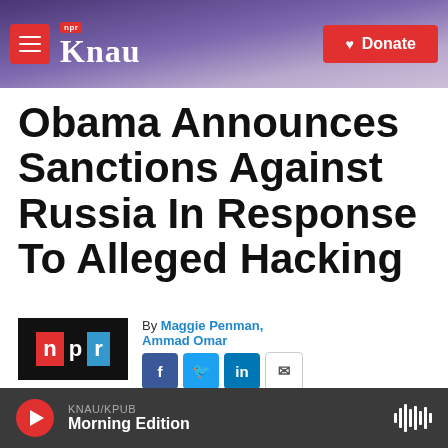KNAU NPR — Donate
Obama Announces Sanctions Against Russia In Response To Alleged Hacking
By Maggie Penman, Ammad Omar
Published December 29, 2016 at 12:56 PM MST
KNAU/KPUB Morning Edition